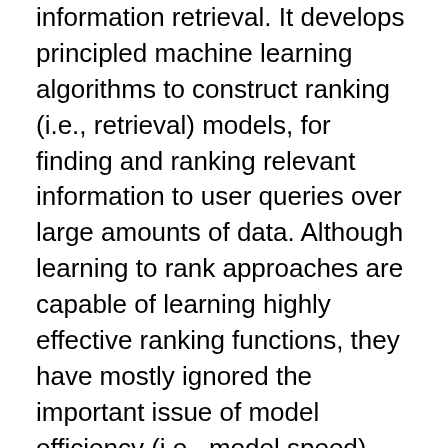information retrieval. It develops principled machine learning algorithms to construct ranking (i.e., retrieval) models, for finding and ranking relevant information to user queries over large amounts of data. Although learning to rank approaches are capable of learning highly effective ranking functions, they have mostly ignored the important issue of model efficiency (i.e., model speed). Given that efficiency and effectiveness are competing forces that often counteract each other, models that are optimized for effectiveness alone may not meet the strict efficiency requirements when dealing with real-world large-scale datasets.
My Ph.D. thesis introduces the Learning to Efficiently Rank framework for learning large-scale ranking models that facilitate fast and effective retrieval, by exploiting and optimizing the tradeoffs between model complexity (i.e., speed) and accuracy. At a basic level, this framework learns ranking models whose speed and accuracy can be